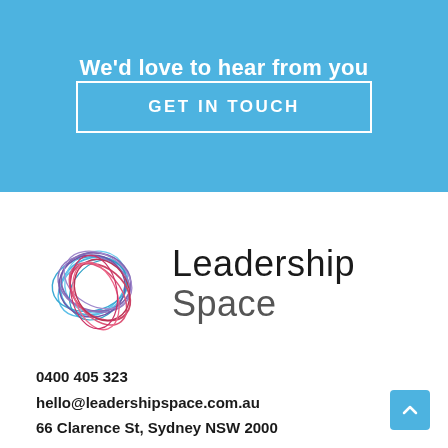We'd love to hear from you
GET IN TOUCH
[Figure (logo): Leadership Space logo with circular swoosh graphic in blue, purple, and red/pink colors alongside the text 'Leadership Space']
0400 405 323
hello@leadershipspace.com.au
66 Clarence St, Sydney NSW 2000